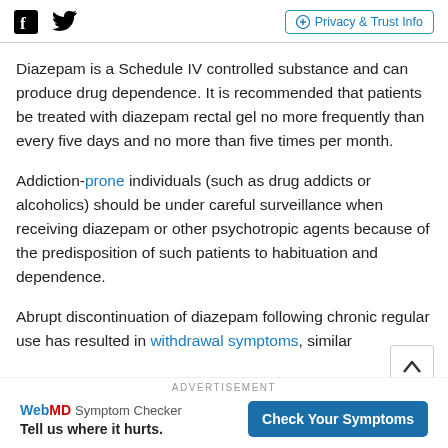Facebook Twitter | Privacy & Trust Info
Diazepam is a Schedule IV controlled substance and can produce drug dependence. It is recommended that patients be treated with diazepam rectal gel no more frequently than every five days and no more than five times per month.
Addiction-prone individuals (such as drug addicts or alcoholics) should be under careful surveillance when receiving diazepam or other psychotropic agents because of the predisposition of such patients to habituation and dependence.
Abrupt discontinuation of diazepam following chronic regular use has resulted in withdrawal symptoms, similar
ADVERTISEMENT
[Figure (infographic): WebMD Symptom Checker advertisement. Text reads: Tell us where it hurts. Button: Check Your Symptoms]